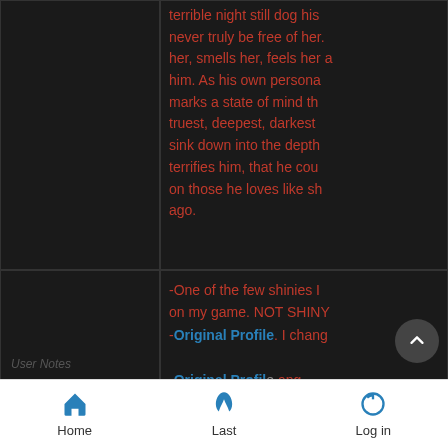terrible night still dog his... never truly be free of her. her, smells her, feels her a him. As his own persona marks a state of mind th truest, deepest, darkest sink down into the depth terrifies him, that he cou on those he loves like sh ago.
-One of the few shinies I on my game. NOT SHINY -Original Profile. I chang -Original Profile. ang -Has a growing loathing
User Notes
Home  Last  Log in